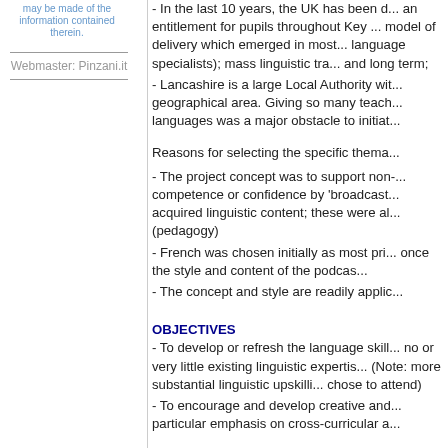may be made of the information contained therein.
Webmaster: Pinzani.it
- In the last 10 years, the UK has been developing an entitlement for pupils throughout Key ... model of delivery which emerged in most ... language specialists); mass linguistic tra... and long term;
- Lancashire is a large Local Authority with ... geographical area. Giving so many teach... languages was a major obstacle to initiat...
Reasons for selecting the specific thema...
- The project concept was to support non-... competence or confidence by 'broadcast... acquired linguistic content; these were al... (pedagogy)
- French was chosen initially as most pri... once the style and content of the podcas...
- The concept and style are readily applic...
OBJECTIVES
- To develop or refresh the language skill... no or very little existing linguistic expertis... (Note: more substantial linguistic upskilli... chose to attend)
- To encourage and develop creative and... particular emphasis on cross-curricular a...
APPROACH
Approach adopted in the planning and de...
- At this stage, the Department for Educ...